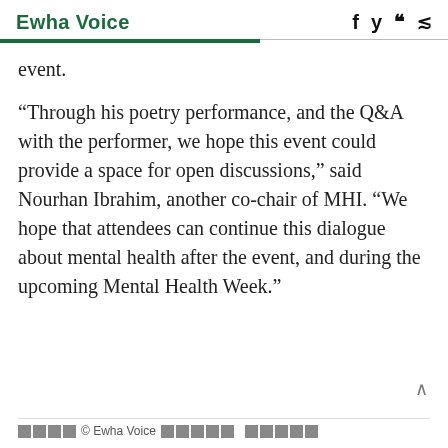Ewha Voice
event.
“Through his poetry performance, and the Q&A with the performer, we hope this event could provide a space for open discussions,” said Nourhan Ibrahim, another co-chair of MHI. “We hope that attendees can continue this dialogue about mental health after the event, and during the upcoming Mental Health Week.”
© Ewha Voice